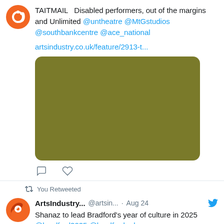TAITMAIL Disabled performers, out of the margins and Unlimited @untheatre @MtGstudios @southbankcentre @ace_national
artsindustry.co.uk/feature/2913-t...
[Figure (photo): Olive/khaki colored rectangular image placeholder with rounded corners]
You Retweeted
ArtsIndustry... @artsin... · Aug 24 Shanaz to lead Bradford's year of culture in 2025 @bradford2025 @bradfordmdc artsindustry.co.uk/news/2912-shan...